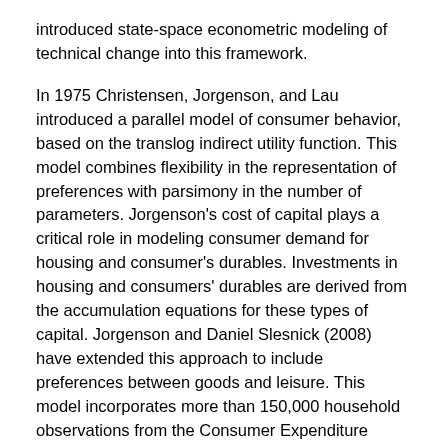introduced state-space econometric modeling of technical change into this framework.
In 1975 Christensen, Jorgenson, and Lau introduced a parallel model of consumer behavior, based on the translog indirect utility function. This model combines flexibility in the representation of preferences with parsimony in the number of parameters. Jorgenson's cost of capital plays a critical role in modeling consumer demand for housing and consumer's durables. Investments in housing and consumers' durables are derived from the accumulation equations for these types of capital. Jorgenson and Daniel Slesnick (2008) have extended this approach to include preferences between goods and leisure. This model incorporates more than 150,000 household observations from the Consumer Expenditure Survey, as well as cross section and time series variation in prices from the Consumer Price Index, both compiled by U.S. Bureau of Labor Statistics.
General equilibrium modeling. In 1986 Jorgenson imbedded his model of investment demand into a general equilibrium model of